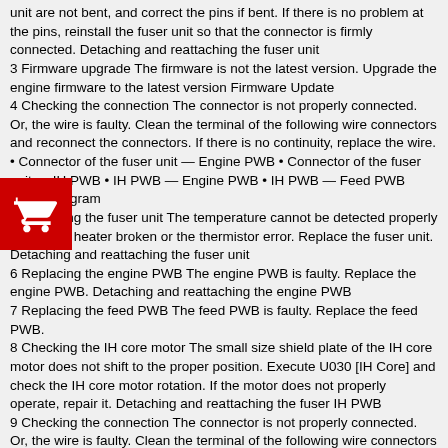unit are not bent, and correct the pins if bent. If there is no problem at the pins, reinstall the fuser unit so that the connector is firmly connected. Detaching and reattaching the fuser unit
3 Firmware upgrade The firmware is not the latest version. Upgrade the engine firmware to the latest version Firmware Update
4 Checking the connection The connector is not properly connected. Or, the wire is faulty. Clean the terminal of the following wire connectors and reconnect the connectors. If there is no continuity, replace the wire. • Connector of the fuser unit — Engine PWB • Connector of the fuser unit — IH PWB • IH PWB — Engine PWB • IH PWB — Feed PWB Wiring diagram
5 Replacing the fuser unit The temperature cannot be detected properly due to the heater broken or the thermistor error. Replace the fuser unit. Detaching and reattaching the fuser unit
6 Replacing the engine PWB The engine PWB is faulty. Replace the engine PWB. Detaching and reattaching the engine PWB
7 Replacing the feed PWB The feed PWB is faulty. Replace the feed PWB.
8 Checking the IH core motor The small size shield plate of the IH core motor does not shift to the proper position. Execute U030 [IH Core] and check the IH core motor rotation. If the motor does not properly operate, repair it. Detaching and reattaching the fuser IH PWB
9 Checking the connection The connector is not properly connected. Or, the wire is faulty. Clean the terminal of the following wire connectors and reconnect the connectors. If there is no continuity, replace the wire. • IH unit — IH PWB Wiring diagram
10 Replacing the IH unit The IH unit is faulty. Replace the IH unit.
[Figure (logo): Red shopping cart icon overlay on left side of page]